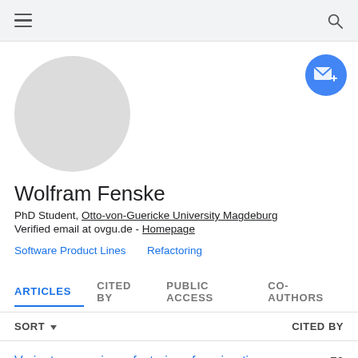Google Scholar profile page header with hamburger menu and search icon
[Figure (photo): Circular grey avatar placeholder image]
[Figure (illustration): Blue circular email/follow button with envelope and plus icon]
Wolfram Fenske
PhD Student, Otto-von-Guericke University Magdeburg
Verified email at ovgu.de - Homepage
Software Product Lines    Refactoring
ARTICLES   CITED BY   PUBLIC ACCESS   CO-AUTHORS
SORT ▾    CITED BY
Variant-preserving refactorings for migrating    70